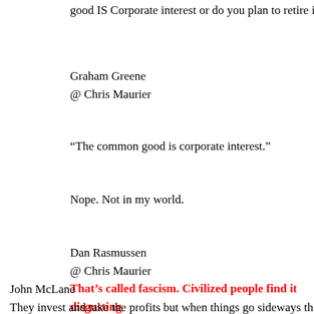good IS Corporate interest or do you plan to retire in isolati
Graham Greene
@ Chris Maurier
“The common good is corporate interest.”
Nope. Not in my world.
Dan Rasmussen
@ Chris Maurier
That’s called fascism. Civilized people find it disgusting
John McLane
They invest and take the profits but when things go sideways th bill. This is not just an oil industry thing but is part of our corpo To the creditors, win some lose some. To our legal system, do w protecting the corporate crooks.